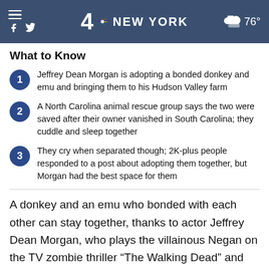NBC 4 NEW YORK  76°
What to Know
Jeffrey Dean Morgan is adopting a bonded donkey and emu and bringing them to his Hudson Valley farm
A North Carolina animal rescue group says the two were saved after their owner vanished in South Carolina; they cuddle and sleep together
They cry when separated though; 2K-plus people responded to a post about adopting them together, but Morgan had the best space for them
A donkey and an emu who bonded with each other can stay together, thanks to actor Jeffrey Dean Morgan, who plays the villainous Negan on the TV zombie thriller "The Walking Dead" and will keep the pair on his New York farm.